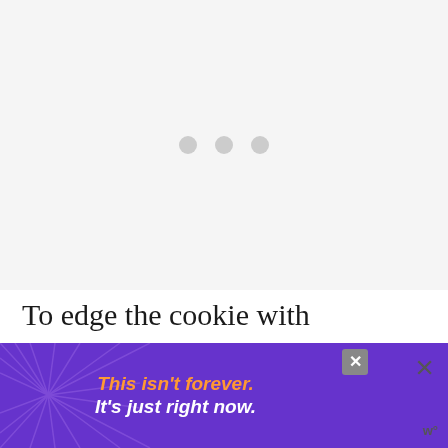[Figure (photo): Large image placeholder area with three grey loading dots centered in a light grey box]
To edge the cookie with nonpareils, I outlined the cookies when the base coat of icing was dry and then dipped the cookies i...
[Figure (infographic): Purple advertisement banner with radiating lines pattern. Orange italic text reads 'This isn't forever.' followed by white italic text 'It's just right now.' A grey close button with X is in the upper right of the ad, and a larger X and 'w°' logo appear to the right outside the ad.]